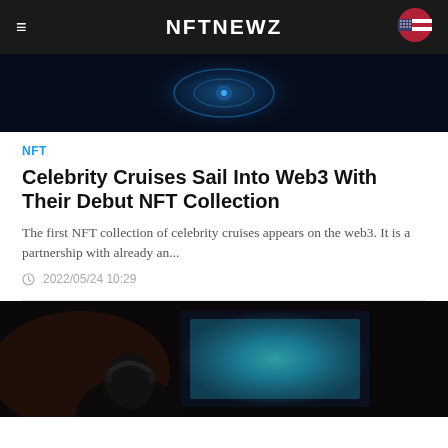NFTNEWZ
[Figure (photo): Dark digital/tech themed image with glowing blue circular NFT-related graphic]
NFT
Celebrity Cruises Sail Into Web3 With Their Debut NFT Collection
The first NFT collection of celebrity cruises appears on the web3. It is a partnership with already an...
2022/05/24 10:29
[Figure (photo): Dark image of a person with headphones in front of a monitor with colorful game/digital content on screen]